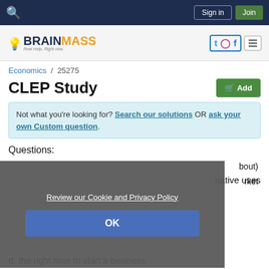Sign in | Join
[Figure (logo): BrainMass logo with lamp icon and tagline 'Real Help. Right now.' and social media icons (Twitter, Instagram, Facebook) and hamburger menu]
Economics / 25275
CLEP Study
Not what you're looking for? Search our solutions OR ask your own Custom question.
Questions:
...bout)
...rket
...native uses
[Figure (screenshot): Cookie and Privacy Policy overlay with 'Review our Cookie and Privacy Policy' link and OK button]
d. the right time to start a business